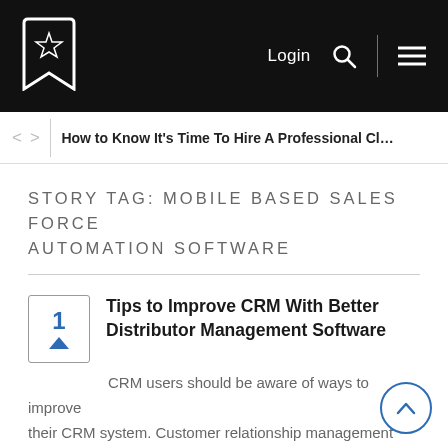Login [search icon] [menu icon]
How to Know It's Time To Hire A Professional Cleani…
STORY TAG: MOBILE BASED SALES FORCE AUTOMATION SOFTWARE
Tips to Improve CRM With Better Distributor Management Software
CRM users should be aware of ways to improve their CRM system. Customer relationship management (CRM) software costs tens of thousands (if not hundreds of thousands) of dollars.
CRM users should be aware of ways to improve their CRM